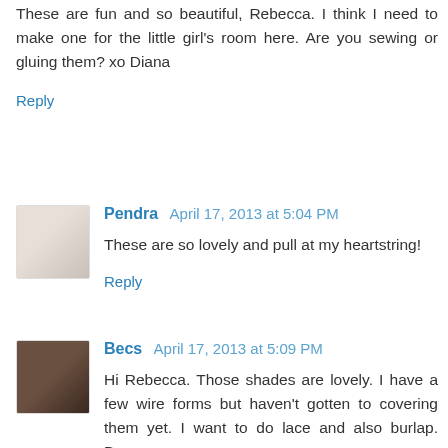These are fun and so beautiful, Rebecca. I think I need to make one for the little girl's room here. Are you sewing or gluing them? xo Diana
Reply
Pendra April 17, 2013 at 5:04 PM
These are so lovely and pull at my heartstring!
Reply
Becs April 17, 2013 at 5:09 PM
Hi Rebecca. Those shades are lovely. I have a few wire forms but haven't gotten to covering them yet. I want to do lace and also burlap. Becs
Reply
Sissie's Shabby Cottage April 17, 2013 at 7:42 PM
Hi Rebecca,